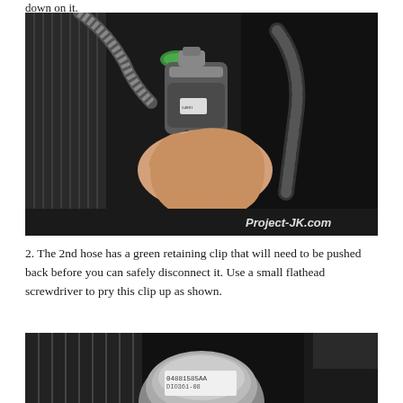down on it.
[Figure (photo): Close-up photo of a hand gripping a cylindrical automotive component (fuel filter or similar) connected to braided hoses in a vehicle engine bay. A green retaining clip is visible on one of the hose connections. Watermark reads 'Project-JK.com' in bottom right corner.]
2. The 2nd hose has a green retaining clip that will need to be pushed back before you can safely disconnect it. Use a small flathead screwdriver to pry this clip up as shown.
[Figure (photo): Close-up photo of an automotive part with a label reading '04881585AA DIO361-08' in a vehicle engine bay, cropped at the bottom of the page.]